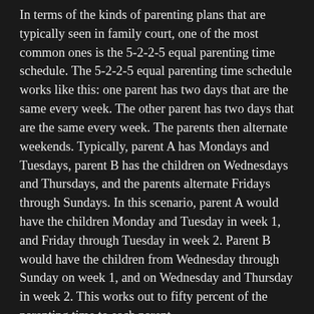In terms of the kinds of parenting plans that are typically seen in family court, one of the most common ones is the 5-2-2-5 equal parenting time schedule. The 5-2-2-5 equal parenting time schedule works like this: one parent has two days that are the same every week. The other parent has two days that are the same every week. The parents then alternate weekends. Typically, parent A has Mondays and Tuesdays, parent B has the children on Wednesdays and Thursdays, and the parents alternate Fridays through Sundays. In this scenario, parent A would have the children Monday and Tuesday in week 1, and Friday through Tuesday in week 2. Parent B would have the children from Wednesday through Sunday on week 1, and on Wednesday and Thursday in week 2. This works out to fifty percent of the parenting time to each parent.
There are other kinds of equal parenting plans as well, although they are less commonly seen, such as the alternating weeks schedule or the 4-3-3-4 schedule. This is a schedule whereby